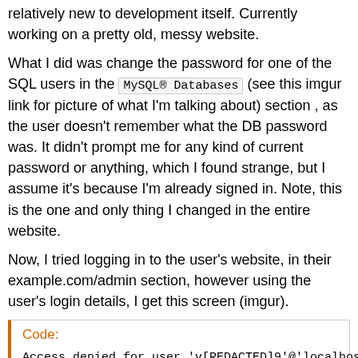relatively new to development itself. Currently working on a pretty old, messy website.
What I did was change the password for one of the SQL users in the MySQL® Databases (see this imgur link for picture of what I'm talking about) section , as the user doesn't remember what the DB password was. It didn't prompt me for any kind of current password or anything, which I found strange, but I assume it's because I'm already signed in. Note, this is the one and only thing I changed in the entire website.
Now, I tried logging in to the user's website, in their example.com/admin section, however using the user's login details, I get this screen (imgur).
Code:
Access denied for user 'v[REDACTED]9'@'localhost' (us
Now, that username that I redacted is identical to the cPanel username I see in the top right of the cPanel navbar (imgur).